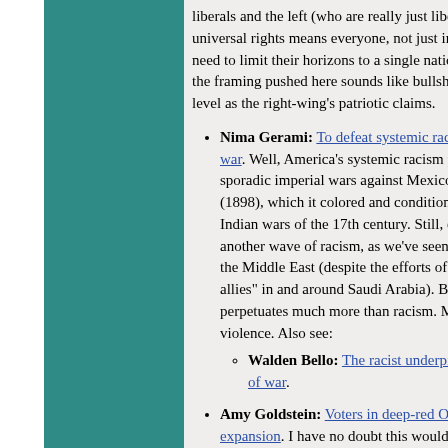liberals and the left (who are really just liberals w... universal rights means everyone, not just individua... need to limit their horizons to a single nation. Con... the framing pushed here sounds like bullshit, more... level as the right-wing's patriotic claims.
Nima Gerami: To defeat systemic racism, America must end war. Well, America's systemic racism predates "en... sporadic imperial wars against Mexico (1848) and ... (1898), which it colored and conditioned -- one ca... Indian wars of the 17th century. Still, every new w... another wave of racism, as we've seen clearly in K... the Middle East (despite the efforts of Bush et seq.... allies" in and around Saudi Arabia). By the way, "e... perpetuates much more than racism. Most obvious... violence. Also see:
Walden Bello: The racist underpinnings of the cost of war.
Amy Goldstein: Voters in deep-red Oklahoma approve Medicaid expansion. I have no doubt this would pass in Kan... given the chance. Almost passed in the legislature ... only by Senate majority leader Susan Wagle refusi... vote.